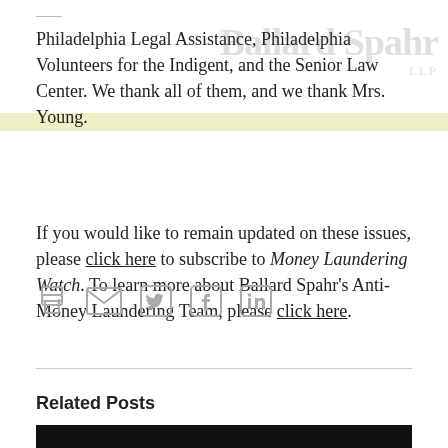Philadelphia Legal Assistance, Philadelphia Volunteers for the Indigent, and the Senior Law Center. We thank all of them, and we thank Mrs. Young.
If you would like to remain updated on these issues, please click here to subscribe to Money Laundering Watch. To learn more about Ballard Spahr's Anti-Money Laundering Team, please click here.
[Figure (other): Social sharing icons: print, email, Twitter, Facebook, LinkedIn]
Related Posts